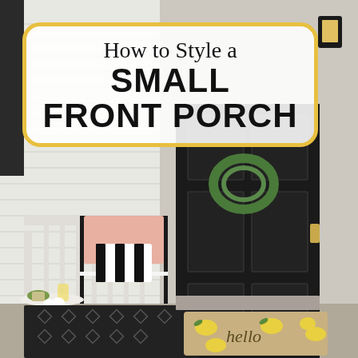[Figure (photo): A small front porch with a black front door adorned with a green wreath, a black metal chair with a pink knit throw and black-and-white striped pillow, a small white side table with a plant and a glass of lemonade, a yellow pot with white flowers, a black geometric outdoor rug, and a beige doormat with lemons printed on it and the word 'hello'.]
How to Style a SMALL FRONT PORCH